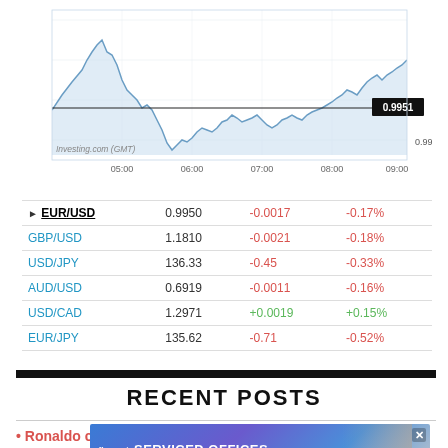[Figure (continuous-plot): EUR/USD intraday line chart from 05:00 to 09:00 GMT, showing price around 0.9940-0.9951 range with peak near 05:30 and decline through 06:30 then partial recovery. Current price label shows 0.9951, secondary label 0.9940. Source: Investing.com (GMT).]
| Pair | Price | Change | Change% |
| --- | --- | --- | --- |
| EUR/USD | 0.9950 | -0.0017 | -0.17% |
| GBP/USD | 1.1810 | -0.0021 | -0.18% |
| USD/JPY | 136.33 | -0.45 | -0.33% |
| AUD/USD | 0.6919 | -0.0011 | -0.16% |
| USD/CAD | 1.2971 | +0.0019 | +0.15% |
| EUR/JPY | 135.62 | -0.71 | -0.52% |
RECENT POSTS
Ronaldo c…